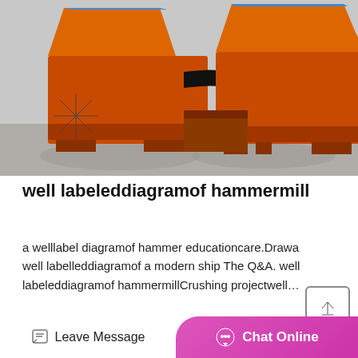[Figure (photo): Two large orange industrial hammer mills/crushers with black pulley wheels, photographed outdoors on a concrete surface.]
well labeleddiagramof hammermill
a welllabel diagramof hammer educationcare.Drawa well labelleddiagramof a modern ship The Q&A. well labeleddiagramof hammermillCrushing projectwell...
Leave Message   Chat Online